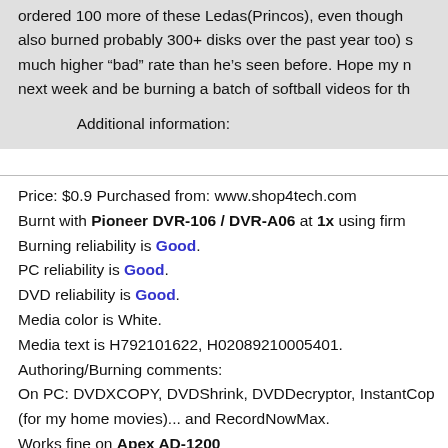ordered 100 more of these Ledas(Princos), even though also burned probably 300+ disks over the past year too) s much higher "bad" rate than he's seen before. Hope my n next week and be burning a batch of softball videos for th
Additional information:
Price: $0.9 Purchased from: www.shop4tech.com
Burnt with Pioneer DVR-106 / DVR-A06 at 1x using firm
Burning reliability is Good.
PC reliability is Good.
DVD reliability is Good.
Media color is White.
Media text is H792101622, H02089210005401.
Authoring/Burning comments:
On PC: DVDXCOPY, DVDShrink, DVDDecryptor, InstantCop (for my home movies)... and RecordNowMax.
Works fine on Apex AD-1200
Works fine on Apex AD-1201
Works fine on Apex AD-1500
Works fine on Koss DVP2161
Works fine on Sony DVP-S360
Works fine on Toshiba SDP3500